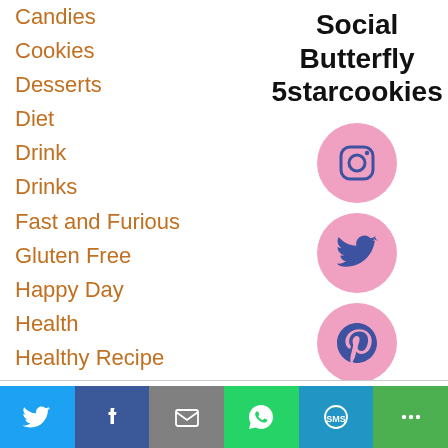Candies
Cookies
Desserts
Diet
Drink
Drinks
Fast and Furious
Gluten Free
Happy Day
Health
Healthy Recipe
Social Butterfly
5starcookies
[Figure (illustration): Instagram icon (camera outline) on pink circle]
[Figure (illustration): Twitter bird icon on pink circle]
[Figure (illustration): Pinterest P icon on pink circle]
This website uses cookies to improve your experience. We'll assume you're ok with this, but you can opt-out if
Twitter | Facebook | Email | WhatsApp | SMS | More